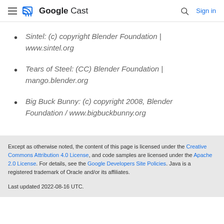Google Cast
Sintel: (c) copyright Blender Foundation | www.sintel.org
Tears of Steel: (CC) Blender Foundation | mango.blender.org
Big Buck Bunny: (c) copyright 2008, Blender Foundation / www.bigbuckbunny.org
Except as otherwise noted, the content of this page is licensed under the Creative Commons Attribution 4.0 License, and code samples are licensed under the Apache 2.0 License. For details, see the Google Developers Site Policies. Java is a registered trademark of Oracle and/or its affiliates.

Last updated 2022-08-16 UTC.